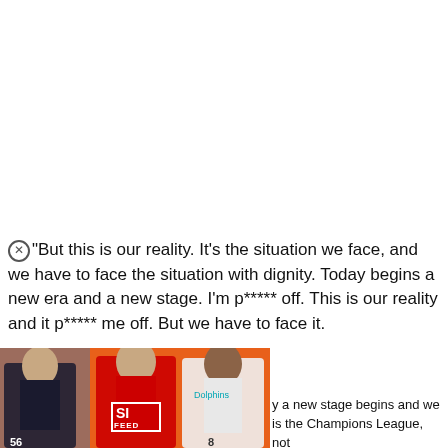“But this is our reality. It’s the situation we face, and we have to face the situation with dignity. Today begins a new era and a new stage. I’m p***** off. This is our reality and it p***** me off. But we have to face it.
[Figure (photo): SI Feed advertisement showing three NFL quarterbacks against an orange and blue background with the SI FEED logo]
otball/status/14687222726849372
ZRImMug&s=19
y a new stage begins and we is the Champions League, not